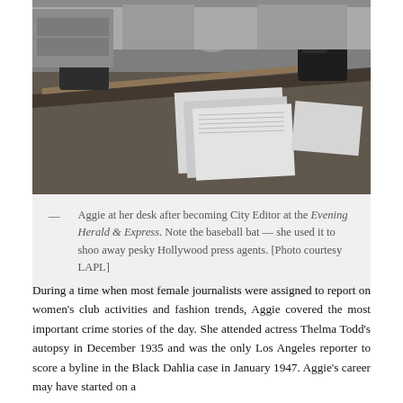[Figure (photo): Black and white photograph of Aggie sitting at her desk, surrounded by papers, with a baseball bat visible on the desk, after becoming City Editor at the Evening Herald & Express.]
— Aggie at her desk after becoming City Editor at the Evening Herald & Express. Note the baseball bat — she used it to shoo away pesky Hollywood press agents. [Photo courtesy LAPL]
During a time when most female journalists were assigned to report on women's club activities and fashion trends, Aggie covered the most important crime stories of the day. She attended actress Thelma Todd's autopsy in December 1935 and was the only Los Angeles reporter to score a byline in the Black Dahlia case in January 1947. Aggie's career may have started on a